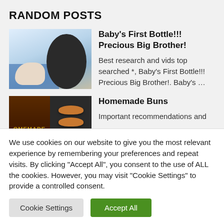RANDOM POSTS
[Figure (photo): Photo of a woman and a baby, baby is being held, blue blanket visible]
Baby's First Bottle!!! Precious Big Brother!
Best research and vids top searched *, Baby's First Bottle!!! Precious Big Brother!. Baby's …
[Figure (photo): Homemade buns image with dark background and text OMEMADE on left, buns on a tray on right]
Homemade Buns
Important recommendations and
We use cookies on our website to give you the most relevant experience by remembering your preferences and repeat visits. By clicking "Accept All", you consent to the use of ALL the cookies. However, you may visit "Cookie Settings" to provide a controlled consent.